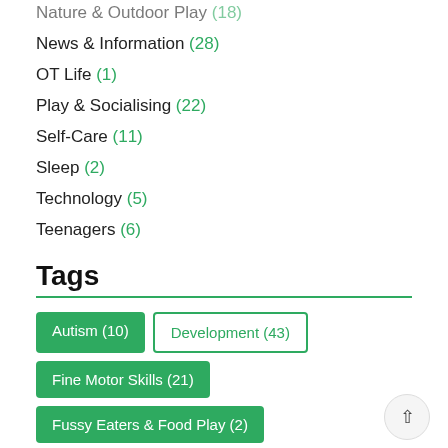Nature & Outdoor Play (18)
News & Information (28)
OT Life (1)
Play & Socialising (22)
Self-Care (11)
Sleep (2)
Technology (5)
Teenagers (6)
Tags
Autism (10)
Development (43)
Fine Motor Skills (21)
Fussy Eaters & Food Play (2)
Gifts & Ideas (4)
Gross Motor Skills (19)